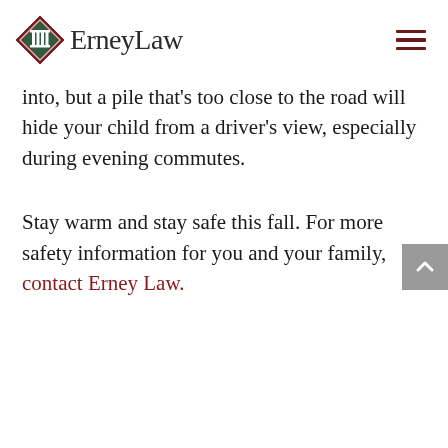ErneyLaw
into, but a pile that’s too close to the road will hide your child from a driver’s view, especially during evening commutes.
Stay warm and stay safe this fall. For more safety information for you and your family, contact Erney Law.